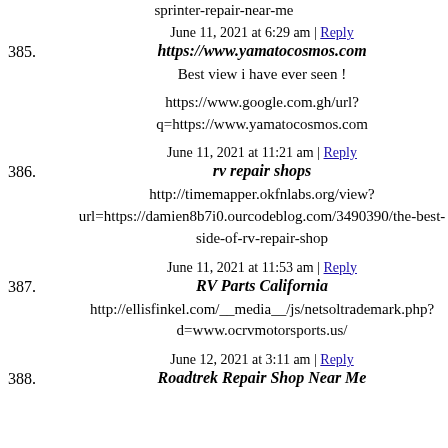sprinter-repair-near-me
385. June 11, 2021 at 6:29 am | Reply
https://www.yamatocosmos.com

Best view i have ever seen !

https://www.google.com.gh/url?q=https://www.yamatocosmos.com
386. June 11, 2021 at 11:21 am | Reply
rv repair shops

http://timemapper.okfnlabs.org/view?url=https://damien8b7i0.ourcodeblog.com/3490390/the-best-side-of-rv-repair-shop
387. June 11, 2021 at 11:53 am | Reply
RV Parts California

http://ellisfinkel.com/__media__/js/netsoltrademark.php?d=www.ocrvmotorsports.us/
388. June 12, 2021 at 3:11 am | Reply
Roadtrek Repair Shop Near Me